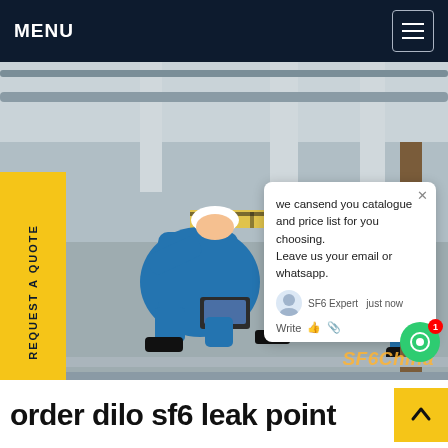MENU
[Figure (photo): Worker in blue coveralls and white hard hat crouching on industrial floor using a laptop, with SF6 leak detection equipment. Yellow caution tape visible. SF6China watermark at bottom right. Chat popup overlay showing 'we cansend you catalogue and price list for you choosing. Leave us your email or whatsapp.' Agent name 'SF6 Expert' and 'just now'. Write bar at bottom of popup.]
order dilo sf6 leak point